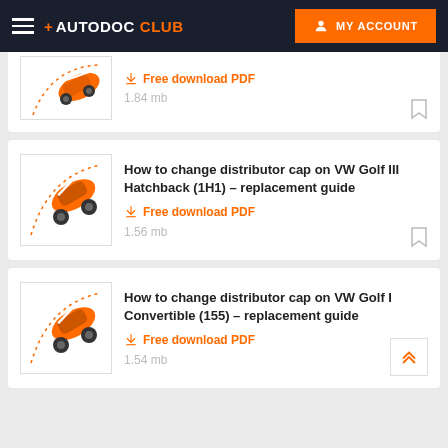+ AUTODOC CLUB   MY ACCOUNT
[Figure (screenshot): Partial car illustration for first card (cut off at top)]
Free download PDF
1.84 mb
How to change distributor cap on VW Golf III Hatchback (1H1) – replacement guide
Free download PDF
1.56 mb
How to change distributor cap on VW Golf I Convertible (155) – replacement guide
Free download PDF
1.54 mb